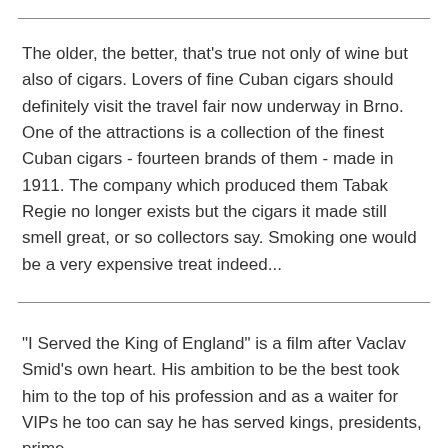The older, the better, that's true not only of wine but also of cigars. Lovers of fine Cuban cigars should definitely visit the travel fair now underway in Brno. One of the attractions is a collection of the finest Cuban cigars - fourteen brands of them - made in 1911. The company which produced them Tabak Regie no longer exists but the cigars it made still smell great, or so collectors say. Smoking one would be a very expensive treat indeed...
"I Served the King of England" is a film after Vaclav Smid's own heart. His ambition to be the best took him to the top of his profession and as a waiter for VIPs he too can say he has served kings, presidents, prime